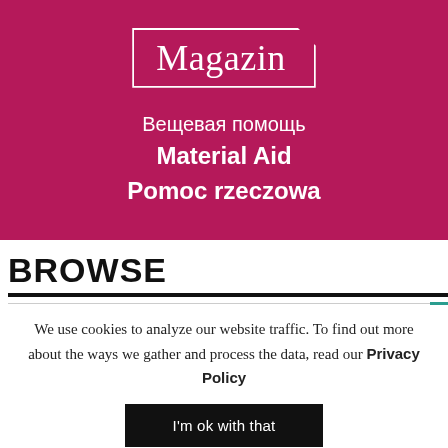[Figure (logo): Magazin logo with white border box on crimson/magenta background, with multilingual text: Вещевая помощь / Material Aid / Pomoc rzeczowa]
BROWSE
We use cookies to analyze our website traffic. To find out more about the ways we gather and process the data, read our Privacy Policy
I'm ok with that